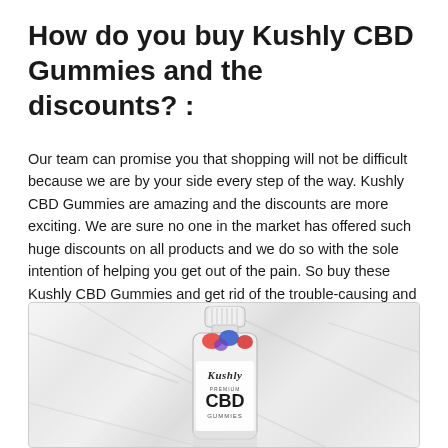How do you buy Kushly CBD Gummies and the discounts? :
Our team can promise you that shopping will not be difficult because we are by your side every step of the way. Kushly CBD Gummies are amazing and the discounts are more exciting. We are sure no one in the market has offered such huge discounts on all products and we do so with the sole intention of helping you get out of the pain. So buy these Kushly CBD Gummies and get rid of the trouble-causing and aggravating pains.
[Figure (photo): A bottle of Kushly Premium CBD Gummies with colorful gummies visible at the top, placed on a marble background.]